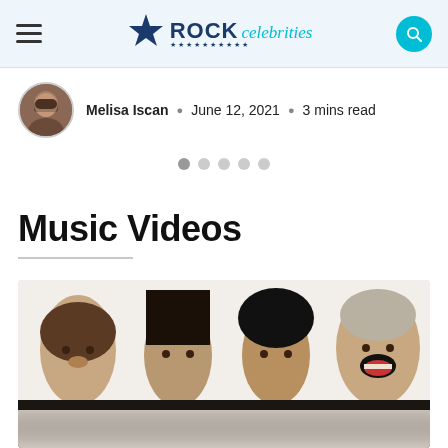ROCK celebrities — navigation header
Melisa Iscan • June 12, 2021 • 3 mins read
Music Videos
[Figure (photo): Four members of Metallica posing against a white brick wall. From left: Kirk Hammett with curly hair, Robert Trujillo with dark hair, Lars Ulrich in black beanie, and James Hetfield on the right laughing with mouth open.]